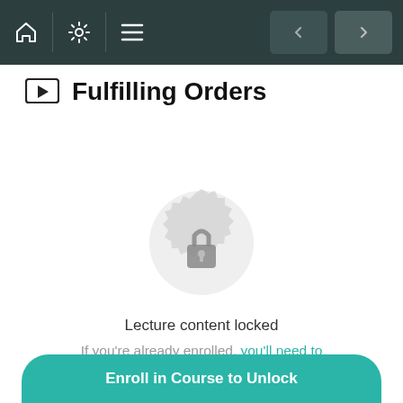Navigation bar with home, settings, menu icons and back/forward arrows
Fulfilling Orders
[Figure (illustration): A locked padlock icon centered on a decorative circular badge/seal shape, rendered in light gray, indicating locked content]
Lecture content locked
If you're already enrolled, you'll need to login.
Enroll in Course to Unlock